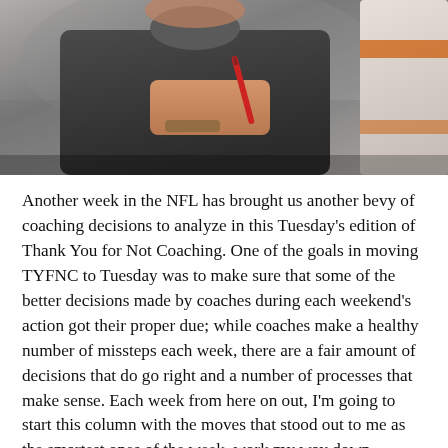[Figure (photo): Photo of an NFL coach in a dark shirt pointing or gesturing with a pen/marker, with another person in a sports uniform partially visible on the right side of the frame.]
Another week in the NFL has brought us another bevy of coaching decisions to analyze in this Tuesday's edition of Thank You for Not Coaching. One of the goals in moving TYFNC to Tuesday was to make sure that some of the better decisions made by coaches during each weekend's action got their proper due; while coaches make a healthy number of missteps each week, there are a fair amount of decisions that do go right and a number of processes that make sense. Each week from here on out, I'm going to start this column with the moves that stood out to me as the smartest ones of the week, work my way down through some of the more curious decisions made by teams, and then finish with the three worst calls. So, now, let's get started with the smart stuff!